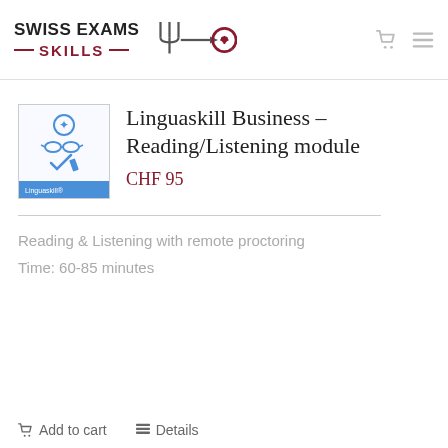[Figure (logo): Swiss Exams Skills logo with fork/arrow icon]
Linguaskill Business – Reading/Listening module
CHF 95
Reading & Listening with remote proctoring
Time: 60-85 minutes
Add to cart   Details